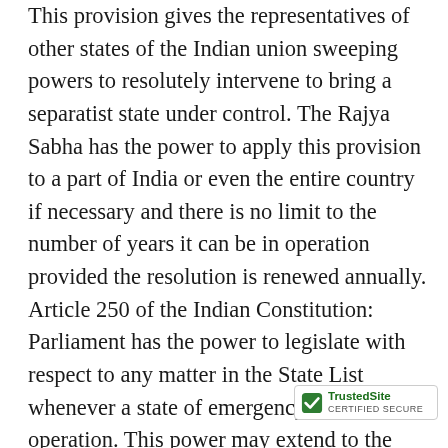This provision gives the representatives of other states of the Indian union sweeping powers to resolutely intervene to bring a separatist state under control. The Rajya Sabha has the power to apply this provision to a part of India or even the entire country if necessary and there is no limit to the number of years it can be in operation provided the resolution is renewed annually. Article 250 of the Indian Constitution: Parliament has the power to legislate with respect to any matter in the State List whenever a state of emergency is in operation. This power may extend to the whole of India or to just one state according to requirement. Article 251 of the Indian Constitution stipulates that whenever the Indian Parliament makes laws relating to subjects coming under the states in terms of 249 and 250, the law made by Parliament...
[Figure (other): TrustedSite CERTIFIED SECURE badge/widget overlaid at bottom right corner]